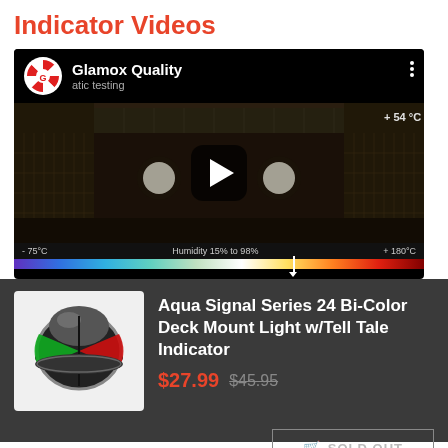Indicator Videos
[Figure (screenshot): YouTube video player showing Glamox Quality channel with a thermal/climate testing video. The video frame shows an industrial interior with temperature scale from -75°C to +180°C and current reading of +54°C with humidity 15% to 98%.]
[Figure (photo): Product photo of Aqua Signal Series 24 Bi-Color Deck Mount Light with Tell Tale Indicator - a round black navigation light showing red and green lenses]
Aqua Signal Series 24 Bi-Color Deck Mount Light w/Tell Tale Indicator
$27.99 $45.95
SOLD OUT